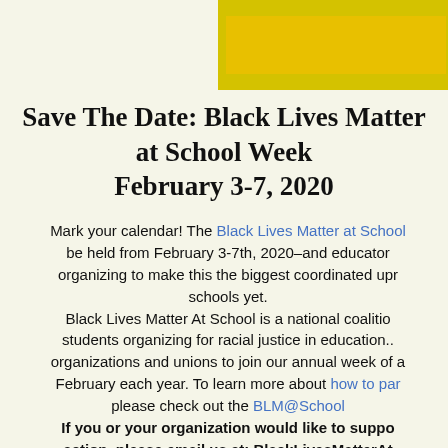[Figure (other): Yellow decorative bar/banner element in the upper right corner of the page]
Save The Date: Black Lives Matter at School Week February 3-7, 2020
Mark your calendar! The Black Lives Matter at School Week will be held from February 3-7th, 2020–and educators are organizing to make this the biggest coordinated uprising in schools yet.
Black Lives Matter At School is a national coalition of students organizing for racial justice in education... organizations and unions to join our annual week of action in February each year. To learn more about how to participate, please check out the BLM@School website.
If you or your organization would like to support this action, please email us at: BlackLivesMatterAt...
During the 2018-2019 school year, BLM@School he...